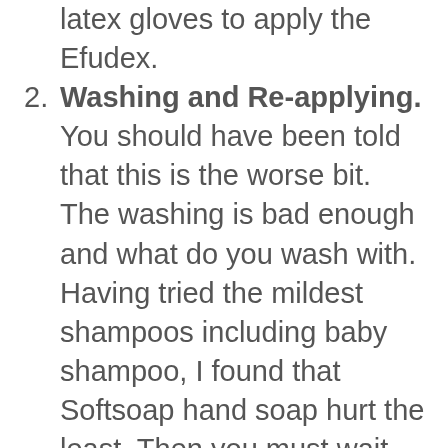latex gloves to apply the Efudex.
2. Washing and Re-applying. You should have been told that this is the worse bit. The washing is bad enough and what do you wash with. Having tried the mildest shampoos including baby shampoo, I found that Softsoap hand soap hurt the least. Then you must wait 10 minutes before re-applying the Efudex. This can be excruciating as the skin dries out. The Efudex appears to